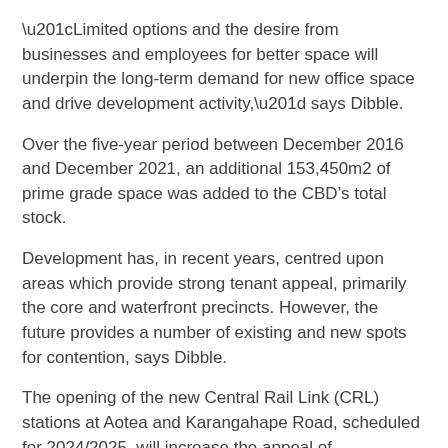“Limited options and the desire from businesses and employees for better space will underpin the long-term demand for new office space and drive development activity,” says Dibble.
Over the five-year period between December 2016 and December 2021, an additional 153,450m2 of prime grade space was added to the CBD’s total stock.
Development has, in recent years, centred upon areas which provide strong tenant appeal, primarily the core and waterfront precincts. However, the future provides a number of existing and new spots for contention, says Dibble.
The opening of the new Central Rail Link (CRL) stations at Aotea and Karangahape Road, scheduled for 2024/2025, will increase the appeal of surrounding areas for business given the ease of access for employees.
Plans are already well advanced for large scale development above Te Wai Horotiu Aotea station, to include a substantial proportion of office premises.